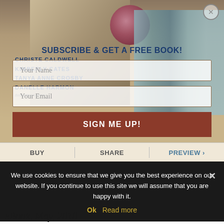[Figure (screenshot): Book cover image showing a man in period dress, a rose, and a set of book spines. Author names visible: Christe Caldwell, Kimberly Cates, Tanya Anne Crosby, Danelle Harmon - Bestselling Authors.]
SUBSCRIBE & GET A FREE BOOK!
Your Name
Your Email
SIGN ME UP!
BUY
SHARE
PREVIEW
We use cookies to ensure that we give you the best experience on our website. If you continue to use this site we will assume that you are happy with it.
Ok  Read more
eBook, May, 2010